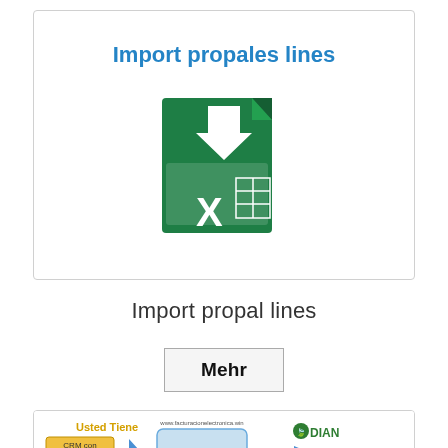[Figure (screenshot): Card with title 'Import propales lines' and a Microsoft Excel icon with a green document and download arrow]
Import propales lines
Import propal lines
Mehr
[Figure (infographic): Diagram showing electronic invoicing integration: 'Usted Tiene' (CRM con Facturacion, Programa Contable) -> Datos API -> Amazon Web Services -> DIAN, with 'Usted recibe' section]